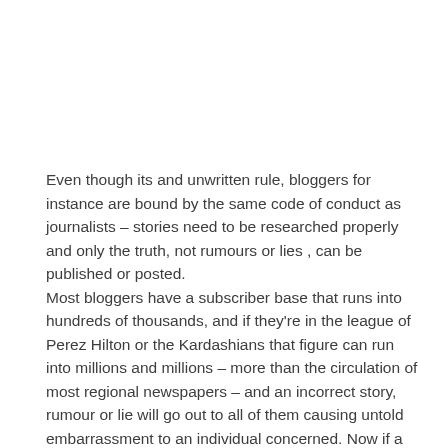Even though its and unwritten rule, bloggers for instance are bound by the same code of conduct as journalists – stories need to be researched properly and only the truth, not rumours or lies , can be published or posted.
Most bloggers have a subscriber base that runs into hundreds of thousands, and if they're in the league of Perez Hilton or the Kardashians that figure can run into millions and millions – more than the circulation of most regional newspapers – and an incorrect story, rumour or lie will go out to all of them causing untold embarrassment to an individual concerned. Now if a journalist, OAP or newscaster spreads a false story the latter could be sued for libel or defamation of character. It shouldn't be any different for somebody who posts something on any of the social media platforms. You can't have one rule for one and